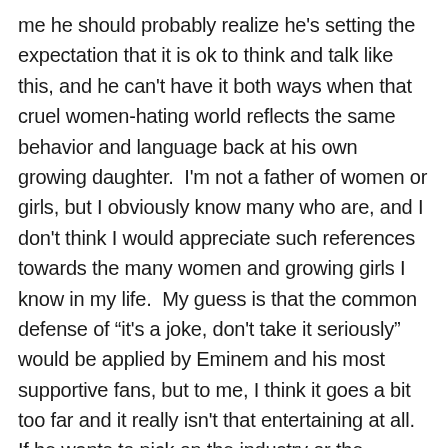me he should probably realize he's setting the expectation that it is ok to think and talk like this, and he can't have it both ways when that cruel women-hating world reflects the same behavior and language back at his own growing daughter.  I'm not a father of women or girls, but I obviously know many who are, and I don't think I would appreciate such references towards the many women and growing girls I know in my life.  My guess is that the common defense of “it's a joke, don't take it seriously” would be applied by Eminem and his most supportive fans, but to me, I think it goes a bit too far and it really isn't that entertaining at all.  If he wants to pick on the industry or the government or other select and deserving targets, fine by me.  However, if I had my way, I would ask him to leave the 99.99% of the female gender that he targets out of his verbal